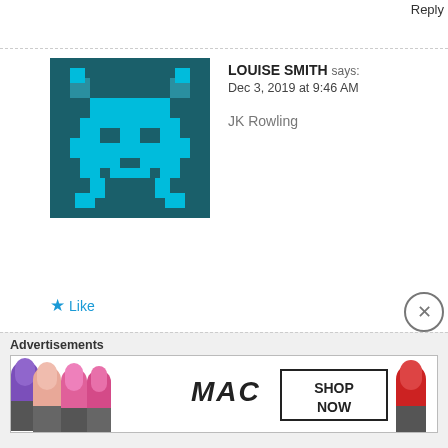Reply
[Figure (illustration): Pixel art avatar with teal/dark green background and cyan robot/space invader character]
LOUISE SMITH says:
Dec 3, 2019 at 9:46 AM

JK Rowling
★ Like
Reply
[Figure (illustration): Pixel art avatar with purple background and pink humanoid robot character]
DAMIEN HUDSON says:
Dec 3, 2019 at 9:55 AM

J K Rowling
★ Like
Reply
Advertisements
[Figure (photo): MAC cosmetics advertisement showing lipsticks in purple, pink, and red colors with MAC logo and SHOP NOW button]